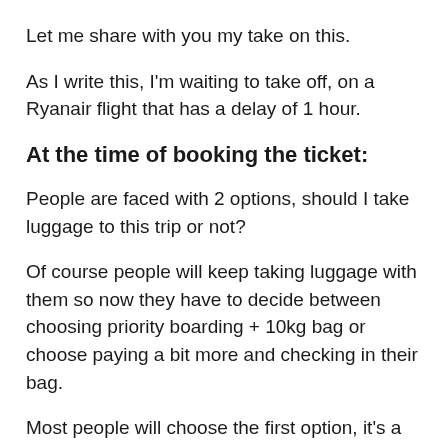Let me share with you my take on this.
As I write this, I'm waiting to take off, on a Ryanair flight that has a delay of 1 hour.
At the time of booking the ticket:
People are faced with 2 options, should I take luggage to this trip or not?
Of course people will keep taking luggage with them so now they have to decide between choosing priority boarding + 10kg bag or choose paying a bit more and checking in their bag.
Most people will choose the first option, it's a cheaper option, they already are conditioned